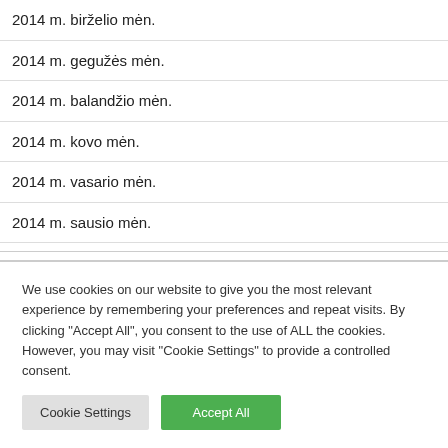2014 m. birželio mėn.
2014 m. gegužės mėn.
2014 m. balandžio mėn.
2014 m. kovo mėn.
2014 m. vasario mėn.
2014 m. sausio mėn.
We use cookies on our website to give you the most relevant experience by remembering your preferences and repeat visits. By clicking "Accept All", you consent to the use of ALL the cookies. However, you may visit "Cookie Settings" to provide a controlled consent.